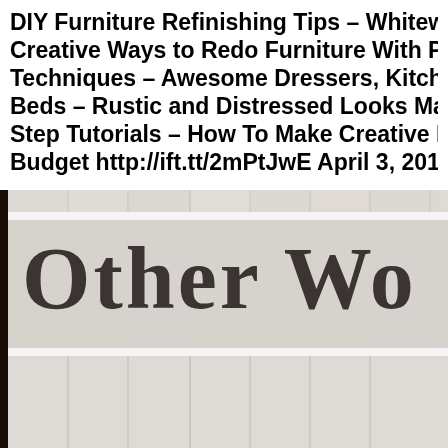DIY Furniture Refinishing Tips – Whitewa... Creative Ways to Redo Furniture With Pa... Techniques – Awesome Dressers, Kitche... Beds – Rustic and Distressed Looks Mad... Step Tutorials – How To Make Creative H... Budget http://ift.tt/2mPtJwE April 3, 2017
[Figure (photo): Whitewashed wood plank background with a rustic sign reading 'Other Wo...' in large serif font, dark brown frame on the left edge.]